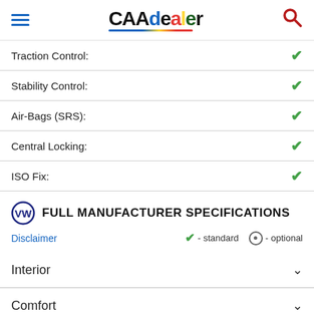CAAdealer
| Feature | Available |
| --- | --- |
| Traction Control: | ✓ |
| Stability Control: | ✓ |
| Air-Bags (SRS): | ✓ |
| Central Locking: | ✓ |
| ISO Fix: | ✓ |
FULL MANUFACTURER SPECIFICATIONS
Disclaimer  ✓ - standard  ⊙ - optional
Interior
Comfort
Safety
Features